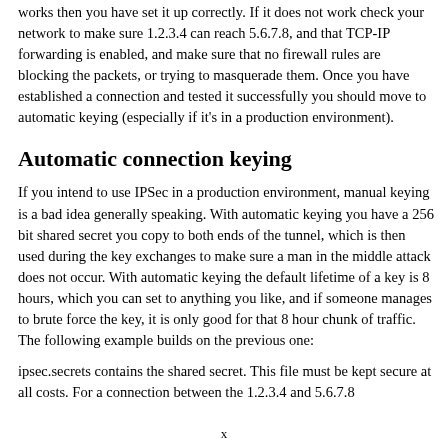works then you have set it up correctly. If it does not work check your network to make sure 1.2.3.4 can reach 5.6.7.8, and that TCP-IP forwarding is enabled, and make sure that no firewall rules are blocking the packets, or trying to masquerade them. Once you have established a connection and tested it successfully you should move to automatic keying (especially if it's in a production environment).
Automatic connection keying
If you intend to use IPSec in a production environment, manual keying is a bad idea generally speaking. With automatic keying you have a 256 bit shared secret you copy to both ends of the tunnel, which is then used during the key exchanges to make sure a man in the middle attack does not occur. With automatic keying the default lifetime of a key is 8 hours, which you can set to anything you like, and if someone manages to brute force the key, it is only good for that 8 hour chunk of traffic. The following example builds on the previous one:
ipsec.secrets contains the shared secret. This file must be kept secure at all costs. For a connection between the 1.2.3.4 and 5.6.7.8
x